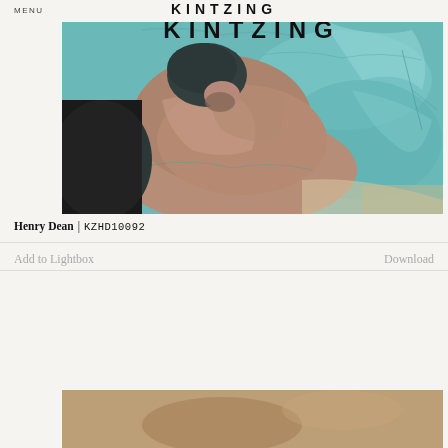MENU   KINTZING
[Figure (photo): Aerial/overhead view of a person swimming in a pool with turquoise water, showing the swimmer's bare upper body and dark swim cap, water reflecting light patterns around them.]
Henry Dean | KZHD10092
Add to Lightbox
Download
[Figure (photo): Partial view of a second photograph at the bottom of the page, partially cropped, showing warm brownish tones.]